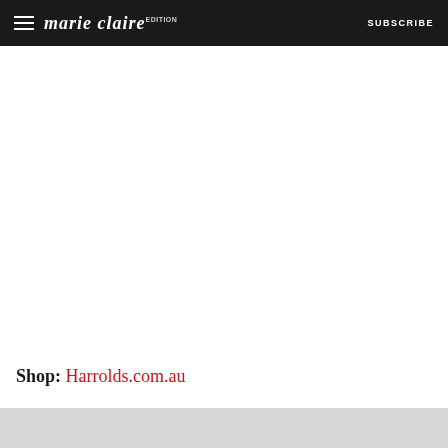marie claire SUBSCRIBE
Shop: Harrolds.com.au
[Figure (other): Gray placeholder/advertisement block at the bottom of the page]